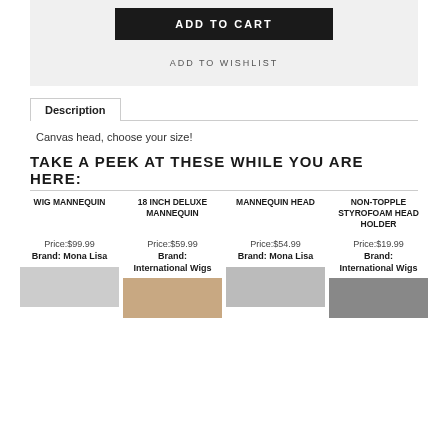ADD TO CART
ADD TO WISHLIST
Description
Canvas head, choose your size!
TAKE A PEEK AT THESE WHILE YOU ARE HERE:
| WIG MANNEQUIN | 18 INCH DELUXE MANNEQUIN | MANNEQUIN HEAD | NON-TOPPLE STYROFOAM HEAD HOLDER |
| --- | --- | --- | --- |
| Price:$99.99 | Price:$59.99 | Price:$54.99 | Price:$19.99 |
| Brand: Mona Lisa | Brand: International Wigs | Brand: Mona Lisa | Brand: International Wigs |